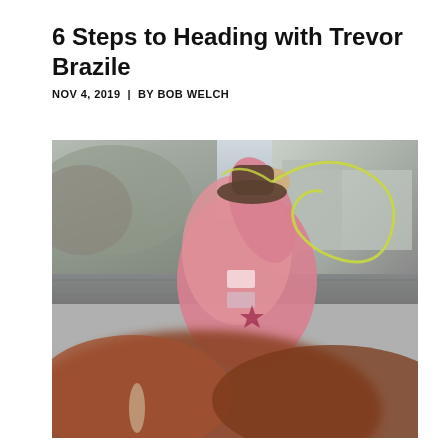6 Steps to Heading with Trevor Brazile
NOV 4, 2019  |  BY BOB WELCH
[Figure (photo): A cowboy in a pink shirt swinging a rope/lasso while on horseback at a rodeo arena. A brown horse is visible in the blurred foreground. Trees and arena structures are visible in the background.]